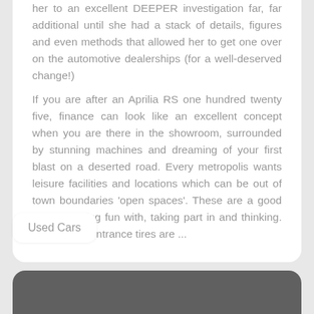her to an excellent DEEPER investigation far, far additional until she had a stack of details, figures and even methods that allowed her to get one over on the automotive dealerships (for a well-deserved change!) If you are after an Aprilia RS one hundred twenty five, finance can look like an excellent concept when you are there in the showroom, surrounded by stunning machines and dreaming of your first blast on a deserted road. Every metropolis wants leisure facilities and locations which can be out of town boundaries 'open spaces'. These are a good way of having fun with, taking part in and thinking. Its rear and entrance tires are ...
Used Cars